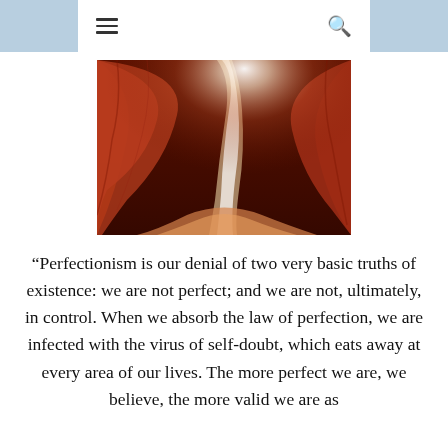≡ 🔍
[Figure (photo): Close-up photograph of undulating red sandstone canyon walls with a bright white light streak, resembling Antelope Canyon.]
“Perfectionism is our denial of two very basic truths of existence: we are not perfect; and we are not, ultimately, in control. When we absorb the law of perfection, we are infected with the virus of self-doubt, which eats away at every area of our lives. The more perfect we are, we believe, the more valid we are as